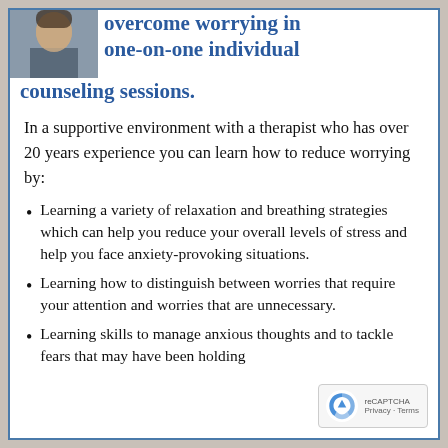[Figure (photo): Partial photo of a person's face/head at the top-left corner]
overcome worrying in one-on-one individual counseling sessions.
In a supportive environment with a therapist who has over 20 years experience you can learn how to reduce worrying by:
Learning a variety of relaxation and breathing strategies which can help you reduce your overall levels of stress and help you face anxiety-provoking situations.
Learning how to distinguish between worries that require your attention and worries that are unnecessary.
Learning skills to manage anxious thoughts and to tackle fears that may have been holding